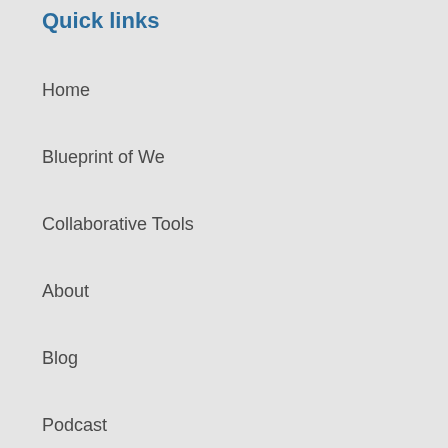Quick links
Home
Blueprint of We
Collaborative Tools
About
Blog
Podcast
STORE
Contact